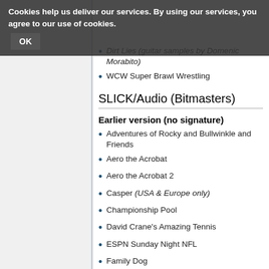Cookies help us deliver our services. By using our services, you agree to our use of cookies. OK
Super Solitaire
Dirt Lies (guitar samples by Domenic Morabito)
WCW Super Brawl Wrestling
SLICK/Audio (Bitmasters)
Earlier version (no signature)
Adventures of Rocky and Bullwinkle and Friends
Aero the Acrobat
Aero the Acrobat 2
Casper (USA & Europe only)
Championship Pool
David Crane's Amazing Tennis
ESPN Sunday Night NFL
Family Dog
Family Feud
Frogger
Home Alone